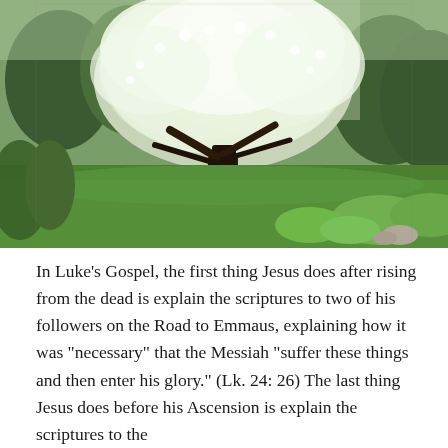[Figure (photo): A flowering white-blossomed tree in full bloom standing in a green grassy lawn, surrounded by other trees and greenery in the background. The tree has a dark trunk with spreading branches covered in white flowers.]
In Luke’s Gospel, the first thing Jesus does after rising from the dead is explain the scriptures to two of his followers on the Road to Emmaus, explaining how it was “necessary” that the Messiah “suffer these things and then enter his glory.” (Lk. 24: 26) The last thing Jesus does before his Ascension is explain the scriptures to the